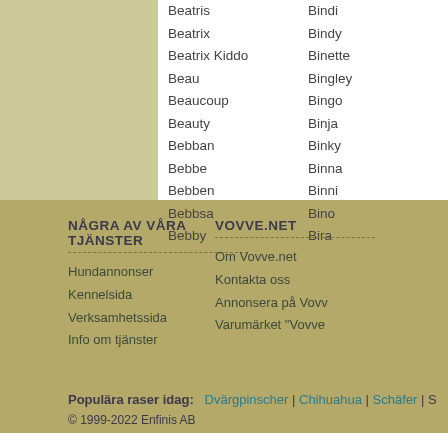Beatris
Beatrix
Beatrix Kiddo
Beau
Beaucoup
Beauty
Bebban
Bebbe
Bebben
Bebbsa
Bebby
Bindi
Bindy
Binette
Bingley
Bingo
Binja
Binky
Binna
Binni
Bino
Bira
NÅGRA AV VÅRA TJÄNSTER
Hundannonser
Kennelsida
Verksamhetssida
Info om tjänster
VOVVE.NET
Om Vovve.net
Kontakta oss
Annonsera på Vovve.net
Varumärket "Vovve"
Populära raser idag: Dvärgpinscher | Chihuahua | Schäfer | S…
© 1999-2022 Enfinis AB